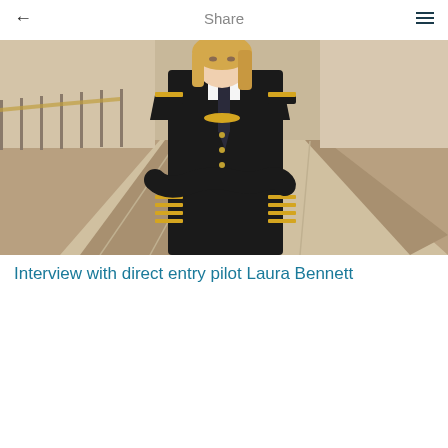Share
[Figure (photo): Female pilot in dark uniform with gold stripes on sleeves, arms crossed, standing in an airport terminal with a moving walkway in the background.]
Interview with direct entry pilot Laura Bennett